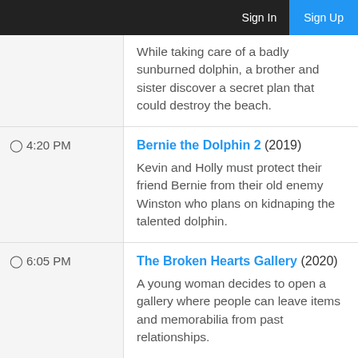Sign In  Sign Up
While taking care of a badly sunburned dolphin, a brother and sister discover a secret plan that could destroy the beach.
4:20 PM  Bernie the Dolphin 2 (2019)
Kevin and Holly must protect their friend Bernie from their old enemy Winston who plans on kidnaping the talented dolphin.
6:05 PM  The Broken Hearts Gallery (2020)
A young woman decides to open a gallery where people can leave items and memorabilia from past relationships.
8:00 PM  The Cardito Chronicles In America